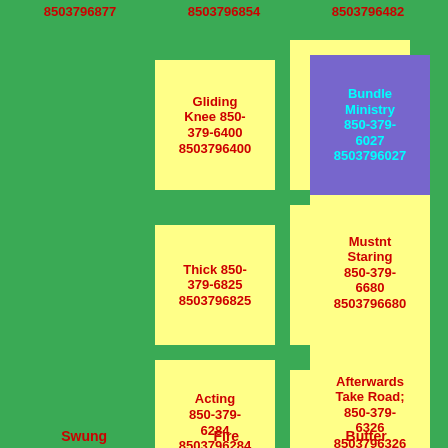8503796877  8503796854  8503796482
Gliding Knee 850-379-6400
8503796400
Barrels Speak 850-379-6728
8503796728
Bundle Ministry 850-379-6027
8503796027
Thick 850-379-6825
8503796825
Ing Bald Storm 850-379-6156
8503796156
Mustnt Staring 850-379-6680
8503796680
Acting 850-379-6284
8503796284
Held 850-379-6493
8503796493
Afterwards Take Road; 850-379-6326
8503796326
Swung  Fire  Butter